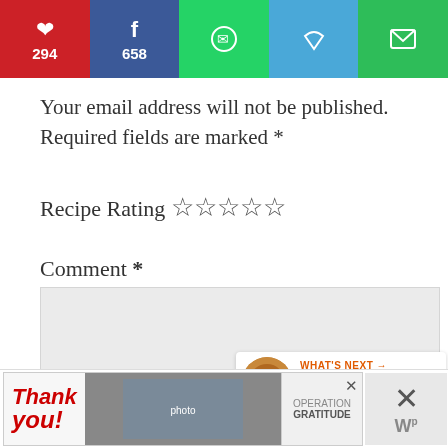[Figure (infographic): Social share bar with Pinterest (294), Facebook (658), WhatsApp, Save/heart, and Email buttons]
Your email address will not be published. Required fields are marked *
Recipe Rating ☆☆☆☆☆
Comment *
[Figure (infographic): Floating heart/like button showing 956 count and share button on right side]
[Figure (infographic): What's Next panel: Red Pesto with Pasta]
[Figure (infographic): Advertisement banner: Thank you Operation Gratitude with close button and WP logo]